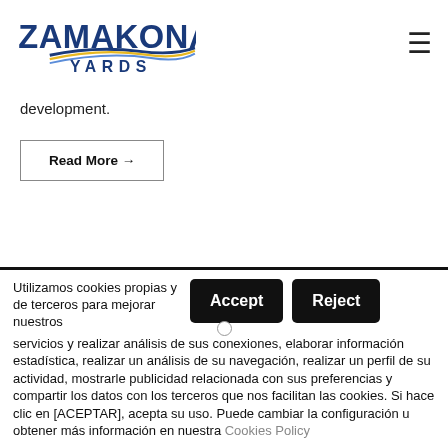Zamakona Yards [logo]
development.
Read More →
Utilizamos cookies propias y de terceros para mejorar nuestros servicios y realizar análisis de sus conexiones, elaborar información estadística, realizar un análisis de su navegación, realizar un perfil de su actividad, mostrarle publicidad relacionada con sus preferencias y compartir los datos con los terceros que nos facilitan las cookies. Si hace clic en [ACEPTAR], acepta su uso. Puede cambiar la configuración u obtener más información en nuestra Cookies Policy